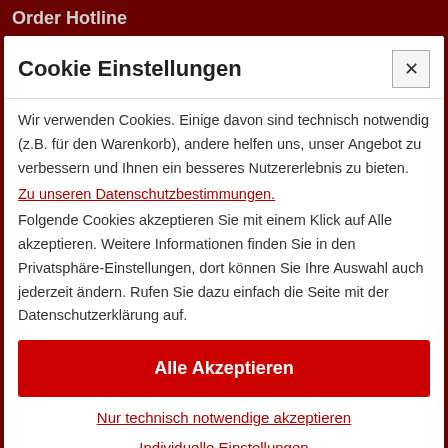Order Hotline
Cookie Einstellungen
Wir verwenden Cookies. Einige davon sind technisch notwendig (z.B. für den Warenkorb), andere helfen uns, unser Angebot zu verbessern und Ihnen ein besseres Nutzererlebnis zu bieten.
Zu unseren Datenschutzbestimmungen.
Folgende Cookies akzeptieren Sie mit einem Klick auf Alle akzeptieren. Weitere Informationen finden Sie in den Privatsphäre-Einstellungen, dort können Sie Ihre Auswahl auch jederzeit ändern. Rufen Sie dazu einfach die Seite mit der Datenschutzerklärung auf.
Alle Akzeptieren
Nur technisch notwendige akzeptieren
Individuelle Einstellungen